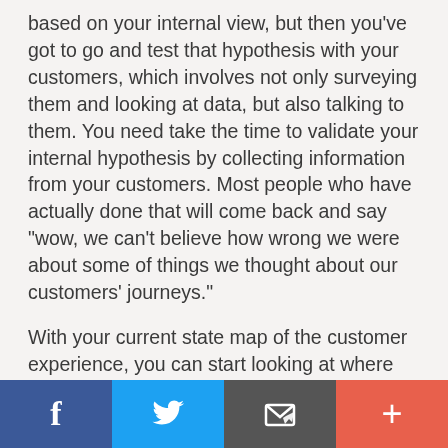based on your internal view, but then you've got to go and test that hypothesis with your customers, which involves not only surveying them and looking at data, but also talking to them. You need take the time to validate your internal hypothesis by collecting information from your customers. Most people who have actually done that will come back and say “wow, we can’t believe how wrong we were about some of things we thought about our customers’ journeys.”
With your current state map of the customer experience, you can start looking at where the poor parts of the experience exist. What does the customer really want to do? Once you have completed and tested your current state map, then you can go and define your future state map of where you need to go. The gap analysis between
Facebook | Twitter | Email | More